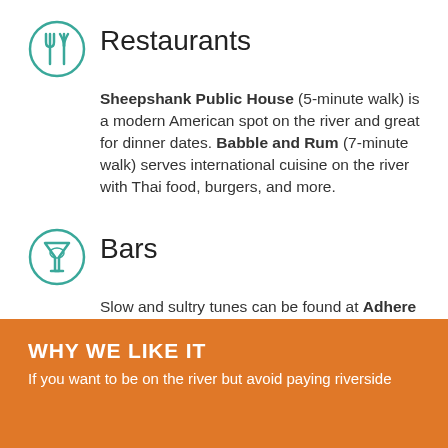Restaurants
Sheepshank Public House (5-minute walk) is a modern American spot on the river and great for dinner dates. Babble and Rum (7-minute walk) serves international cuisine on the river with Thai food, burgers, and more.
Bars
Slow and sultry tunes can be found at Adhere The 13th Blues Bar (5-minute walk). Madame Musur (8-minute walk) is a backpacker’s favorite on a backpacker-filled street. You can find cheap drinks in an open-air setting.
WHY WE LIKE IT
If you want to be on the river but avoid paying riverside